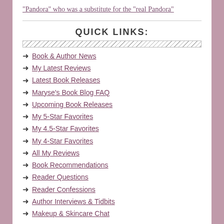“Pandora” who was a substitute for the “real Pandora”
QUICK LINKS:
Book & Author News
My Latest Reviews
Latest Book Releases
Maryse’s Book Blog FAQ
Upcoming Book Releases
My 5-Star Favorites
My 4.5-Star Favorites
My 4-Star Favorites
All My Reviews
Book Recommendations
Reader Questions
Reader Confessions
Author Interviews & Tidbits
Makeup & Skincare Chat